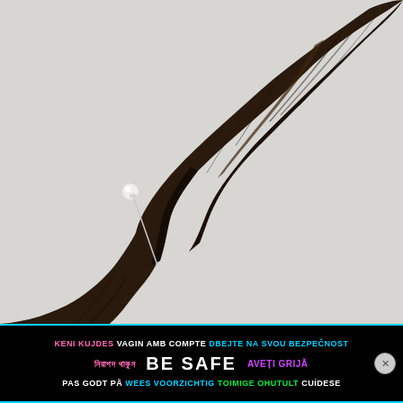[Figure (photo): A dark brown fabric scarf or cloth pinned to a white wall with a white pearl/ball pin. The fabric drapes diagonally across the frame, twisted near the bottom.]
KENI KUJDES  VAGIN AMB COMPTE  DBEJTE NA SVOU BEZPEČNOST  নিরাপদ থাকুন  BE SAFE  AVEȚI GRIJĂ  PAS GODT PÅ  WEES VOORZICHTIG  TOIMIGE OHUTULT  CUÍDESE